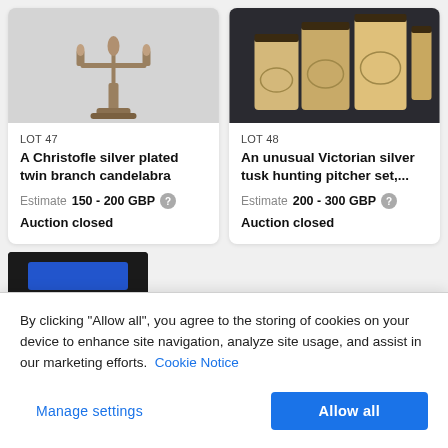[Figure (photo): Silver candelabra on octagonal base]
LOT 47
A Christofle silver plated twin branch candelabra
Estimate 150 - 200 GBP
Auction closed
[Figure (photo): Victorian silver tusk hunting pitcher set with multiple cups]
LOT 48
An unusual Victorian silver tusk hunting pitcher set,...
Estimate 200 - 300 GBP
Auction closed
[Figure (photo): Partial view of another lot item, dark background with blue accent]
By clicking “Allow all”, you agree to the storing of cookies on your device to enhance site navigation, analyze site usage, and assist in our marketing efforts. Cookie Notice
Manage settings
Allow all